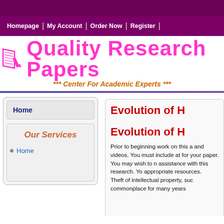Homepage | My Account | Order Now | Register
[Figure (logo): Quality Research Papers logo with book and pen icon, magenta text, subtitle '*** Center For Academic Experts ***']
Home
Our Services
Home
Evolution of H
Evolution of H
Prior to beginning work on this a and videos. You must include at for your paper. You may wish to n assistance with this research. Yo appropriate resources.
Theft of intellectual property, suc commonplace for many years